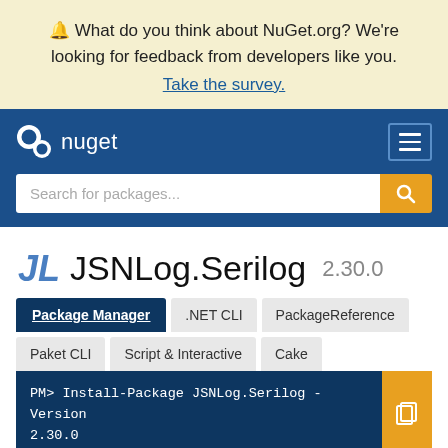🔔 What do you think about NuGet.org? We're looking for feedback from developers like you. Take the survey.
[Figure (screenshot): NuGet navigation bar with logo and hamburger menu, search box with orange search button]
JSNLog.Serilog 2.30.0
Package Manager | .NET CLI | PackageReference | Paket CLI | Script & Interactive | Cake
PM> Install-Package JSNLog.Serilog -Version 2.30.0